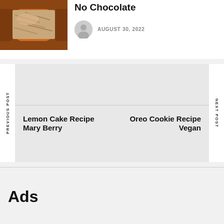[Figure (photo): Close-up photo of a chocolate-coated candy bar with peanut butter or crispy filling, bitten to show interior]
No Chocolate
AUGUST 30, 2022
Lemon Cake Recipe Mary Berry
Oreo Cookie Recipe Vegan
Ads